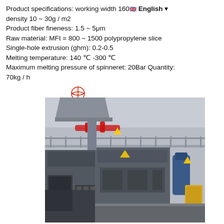Product specifications: working width 160 ~ English ~ density 10 ~ 30g / m2
Product fiber fineness: 1.5 ~ 5μm
Raw material: MFI = 800 ~ 1500 polypropylene slice
Single-hole extrusion (ghm): 0.2-0.5
Melting temperature: 140 ℃ -300 ℃
Maximum melting pressure of spinneret: 20Bar Quantity: 70kg / h
[Figure (photo): Interior of an industrial factory showing meltblown nonwoven fabric production machinery. Large grey industrial equipment including control panels, pressing/rolling machines, and piping on a factory floor with a mezzanine level railing visible above.]